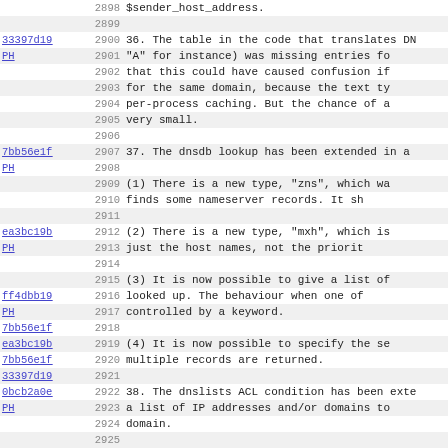Source code diff view with line numbers and commit hashes. Lines 2898-2930 showing changelog entries 36-40 related to DNS lookup extensions and queue handling.
36. The table in the code that translates DN "A" for instance) was missing entries fo that this could have caused confusion if for the same domain, because the text ty per-process caching. But the chance of a very small.
37. The dnsdb lookup has been extended in a (1) There is a new type, "zns", which wa finds some nameserver records. It sh (2) There is a new type, "mxh", which is just the host names, not the priorit (3) It is now possible to give a list of looked up. The behaviour when one of controlled by a keyword. (4) It is now possible to specify the se multiple records are returned.
38. The dnslists ACL condition has been exte a list of IP addresses and/or domains to domain.
39. Added log_selector=+queue_time_overall.
40. When running the queue in the test harne delivery process, to get repeatability o